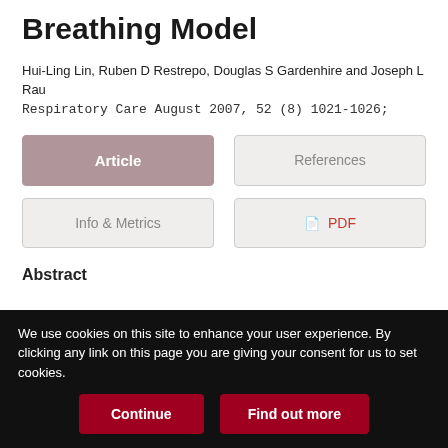Breathing Model
Hui-Ling Lin, Ruben D Restrepo, Douglas S Gardenhire and Joseph L Rau
Respiratory Care August 2007, 52 (8) 1021-1026;
[Figure (screenshot): Navigation buttons: Article (active/selected, dark mauve background), References, Info & Metrics, PDF with icon]
Abstract
We use cookies on this site to enhance your user experience. By clicking any link on this page you are giving your consent for us to set cookies.
Continue | Find out more